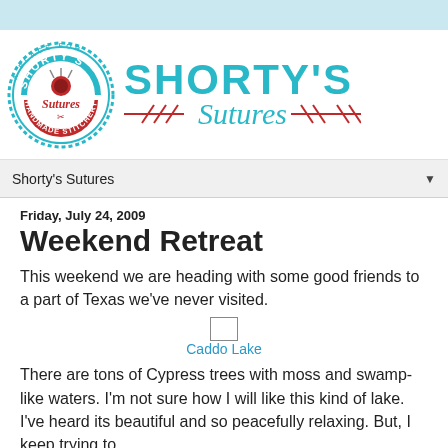[Figure (logo): Shorty's Sutures blog header with circular badge logo on left and large teal text 'SHORTY'S Sutures' with decorative red scissor/cross lines on right]
Shorty's Sutures
Friday, July 24, 2009
Weekend Retreat
This weekend we are heading with some good friends to a part of Texas we've never visited.
[Figure (photo): Placeholder image box for Caddo Lake photo]
Caddo Lake
There are tons of Cypress trees with moss and swamp-like waters. I'm not sure how I will like this kind of lake. I've heard its beautiful and so peacefully relaxing. But, I keep trying to